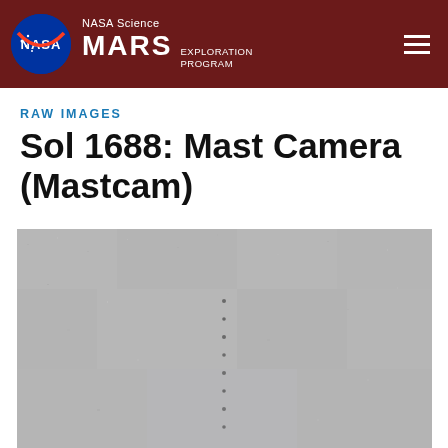NASA Science MARS EXPLORATION PROGRAM
RAW IMAGES
Sol 1688: Mast Camera (Mastcam)
[Figure (photo): Raw grayscale image from Mars Curiosity rover Mastcam showing a featureless gray Martian sky or surface with a faint vertical dotted line of dark specks near the center of the image.]